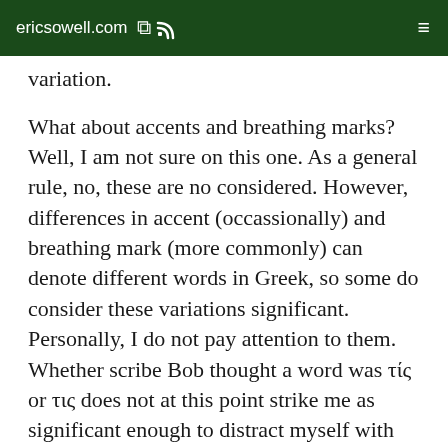ericsowell.com ☰
variation.
What about accents and breathing marks? Well, I am not sure on this one. As a general rule, no, these are no considered. However, differences in accent (occassionally) and breathing mark (more commonly) can denote different words in Greek, so some do consider these variations significant. Personally, I do not pay attention to them. Whether scribe Bob thought a word was τίς or τις does not at this point strike me as significant enough to distract myself with them. I am already paying attention to enough